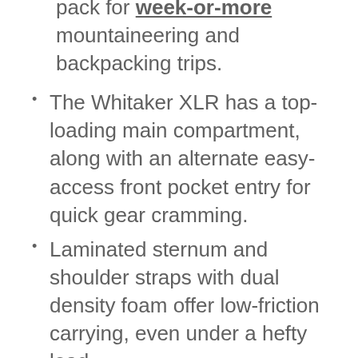pack for week-or-more mountaineering and backpacking trips.
The Whitaker XLR has a top-loading main compartment, along with an alternate easy-access front pocket entry for quick gear cramming.
Laminated sternum and shoulder straps with dual density foam offer low-friction carrying, even under a hefty load.
Jansport designed this huge internal-frame pack with a soft-form helmet recess to help shield your head from debris.